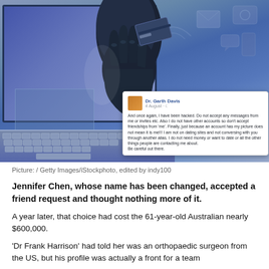[Figure (photo): A gloved hand reaching through a laptop screen holding a credit card, with a Facebook post overlay from Dr. Garth Davis warning about being hacked, against a blue-toned digital background with social media icons.]
Picture: / Getty Images/iStockphoto, edited by indy100
Jennifer Chen, whose name has been changed, accepted a friend request and thought nothing more of it.
A year later, that choice had cost the 61-year-old Australian nearly $600,000.
'Dr Frank Harrison' had told her was an orthopaedic surgeon from the US, but his profile was actually a front for a team